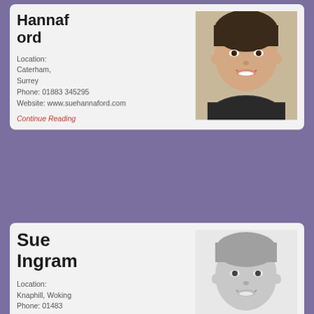Hannaford
Location: Caterham, Surrey
Phone: 01883 345295
Website: www.suehannaford.com
[Figure (photo): Color photo of a smiling woman with short dark hair]
Continue Reading
Sue Ingram
Location: Knaphill, Woking
Phone: 01483 833405
Email:
[Figure (photo): Black and white photo of a smiling woman with short light hair]